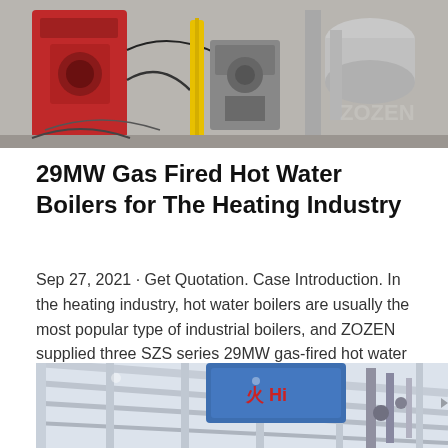[Figure (photo): Industrial boiler equipment photo showing red boiler unit with yellow pipes and metal ductwork/piping in a facility]
29MW Gas Fired Hot Water Boilers for The Heating Industry
Sep 27, 2021 · Get Quotation. Case Introduction. In the heating industry, hot water boilers are usually the most popular type of industrial boilers, and ZOZEN supplied three SZS series 29MW gas-fired hot water boilers to a…
Get Price
[Figure (photo): Industrial facility interior looking up at ceiling with blue equipment/unit mounted overhead and piping visible]